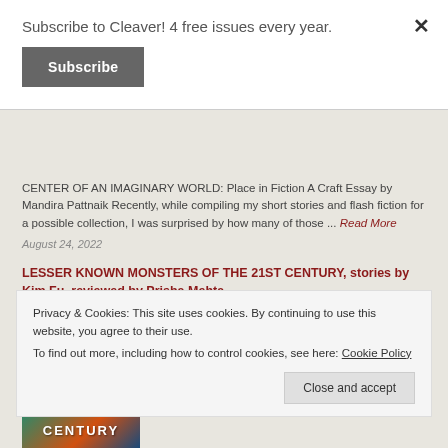Subscribe to Cleaver! 4 free issues every year.
Subscribe
CENTER OF AN IMAGINARY WORLD: Place in Fiction A Craft Essay by Mandira Pattnaik Recently, while compiling my short stories and flash fiction for a possible collection, I was surprised by how many of those ... Read More
August 24, 2022
LESSER KNOWN MONSTERS OF THE 21ST CENTURY, stories by Kim Fu, reviewed by Prisha Mehta
[Figure (photo): Partial book cover image showing 'KNOWN' text on colorful background]
Privacy & Cookies: This site uses cookies. By continuing to use this website, you agree to their use.
To find out more, including how to control cookies, see here: Cookie Policy
Close and accept
[Figure (photo): Partial book cover image showing 'CENTURY' text on colorful background]